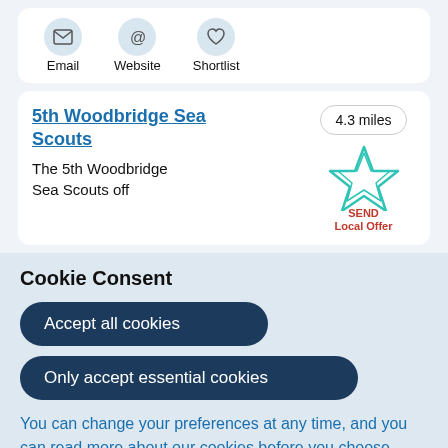[Figure (screenshot): Top card showing Email, Website, Shortlist icon buttons]
5th Woodbridge Sea Scouts
4.3 miles
[Figure (illustration): SEND Local Offer star icon in teal outline]
The 5th Woodbridge Sea Scouts off...
Cookie Consent
Accept all cookies
Only accept essential cookies
You can change your preferences at any time, and you can read more about our cookies before you choose.
Leave Website